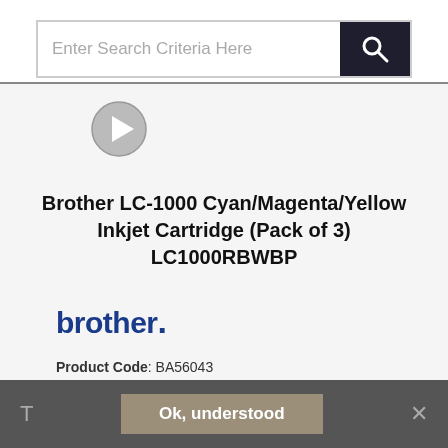[Figure (screenshot): Search bar with placeholder text 'Enter Search Criteria Here' and a dark search button with magnifying glass icon]
[Figure (illustration): Grey circular play button icon]
Brother LC-1000 Cyan/Magenta/Yellow Inkjet Cartridge (Pack of 3) LC1000RBWBP
[Figure (logo): Brother brand logo in dark blue text]
Product Code: BA56043
Product Unit: PK3
Lead Time 1 Working Day/s
T
Ok, understood
×